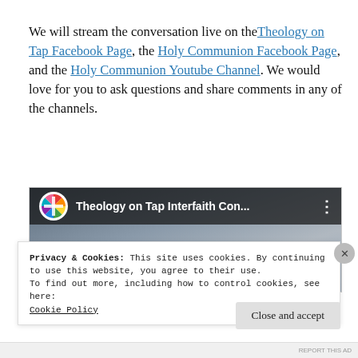We will stream the conversation live on the Theology on Tap Facebook Page, the Holy Communion Facebook Page, and the Holy Communion Youtube Channel. We would love for you to ask questions and share comments in any of the channels.
[Figure (screenshot): YouTube video thumbnail showing 'Theology on Tap Interfaith Con...' with a colorful wheel logo on the left, video title bar overlay, and large 'Theology on Tap' text in cyan over a cloudy sky background.]
Privacy & Cookies: This site uses cookies. By continuing to use this website, you agree to their use.
To find out more, including how to control cookies, see here:
Cookie Policy
Close and accept